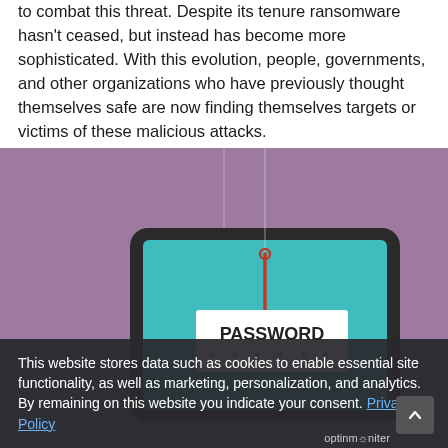to combat this threat. Despite its tenure ransomware hasn't ceased, but instead has become more sophisticated. With this evolution, people, governments, and other organizations who have previously thought themselves safe are now finding themselves targets or victims of these malicious attacks.
[Figure (illustration): Purple background illustration showing a tablet/laptop screen with teal/cyan display. A red fishing hook hangs from a white card showing 'PASSWORD' text and asterisks below it, representing a phishing/ransomware concept.]
This website stores data such as cookies to enable essential site functionality, as well as marketing, personalization, and analytics. By remaining on this website you indicate your consent. Privacy Policy